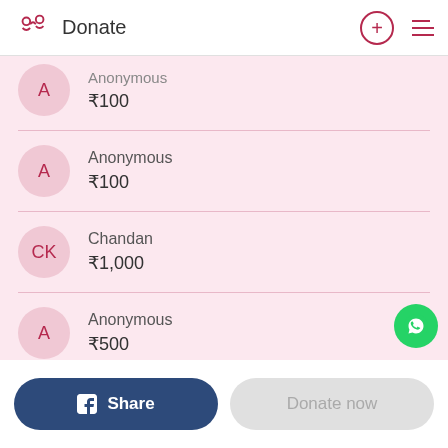Donate
Anonymous ₹100
Anonymous ₹100
Chandan ₹1,000
Anonymous ₹500
View all supporters